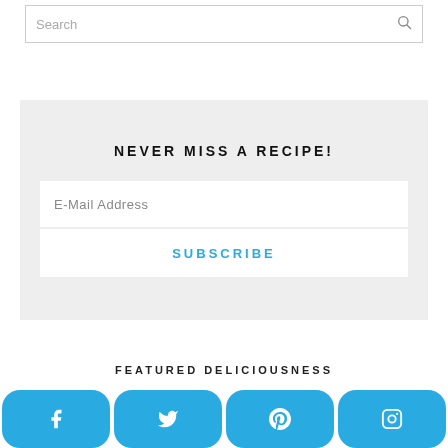Search
NEVER MISS A RECIPE!
E-Mail Address
SUBSCRIBE
FEATURED DELICIOUSNESS
[Figure (infographic): Social media share buttons: Facebook, Twitter, Pinterest, Instagram — rounded rectangle buttons in cyan/blue color at the bottom of the page]